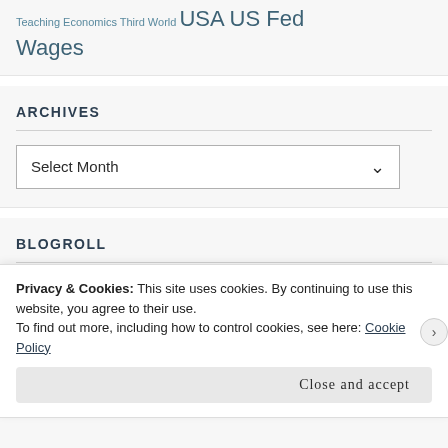Teaching Economics Third World USA US Fed Wages
ARCHIVES
Select Month
BLOGROLL
Privacy & Cookies: This site uses cookies. By continuing to use this website, you agree to their use.
To find out more, including how to control cookies, see here: Cookie Policy
Close and accept